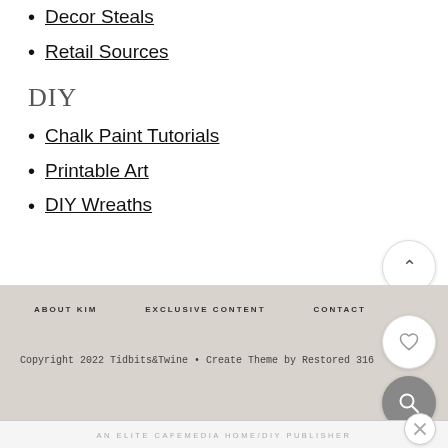Decor Steals
Retail Sources
DIY
Chalk Paint Tutorials
Printable Art
DIY Wreaths
ABOUT KIM   EXCLUSIVE CONTENT   CONTACT
Copyright 2022 Tidbits&Twine • Create Theme by Restored 316
AN ELITE CAFEMEDIA HOME/DIY PUBLISHER